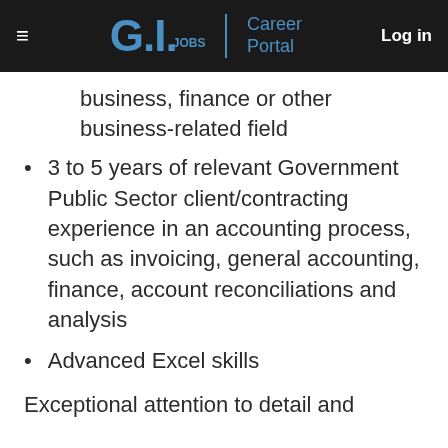GI.Jobs | Career Portal — Log in
business, finance or other business-related field
3 to 5 years of relevant Government Public Sector client/contracting experience in an accounting process, such as invoicing, general accounting, finance, account reconciliations and analysis
Advanced Excel skills
Exceptional attention to detail and